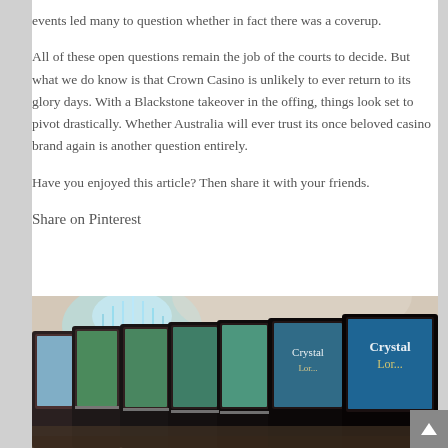events led many to question whether in fact there was a coverup.
All of these open questions remain the job of the courts to decide. But what we do know is that Crown Casino is unlikely to ever return to its glory days. With a Blackstone takeover in the offing, things look set to pivot drastically. Whether Australia will ever trust its once beloved casino brand again is another question entirely.
Have you enjoyed this article? Then share it with your friends.
Share on Pinterest
[Figure (photo): Row of slot machines in a casino interior with chandelier visible in background]